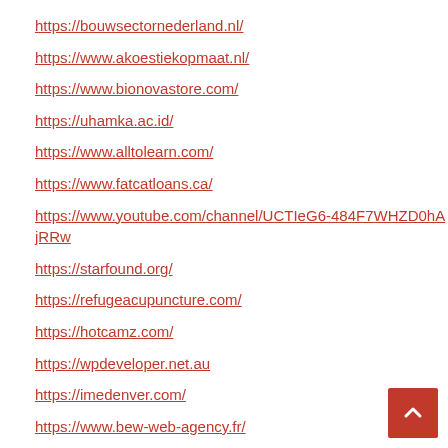https://bouwsectornederland.nl/
https://www.akoestiekopmaat.nl/
https://www.bionovastore.com/
https://uhamka.ac.id/
https://www.alltolearn.com/
https://www.fatcatloans.ca/
https://www.youtube.com/channel/UCTIeG6-484F7WHZD0hAjRRw
https://starfound.org/
https://refugeacupuncture.com/
https://hotcamz.com/
https://wpdeveloper.net.au
https://imedenver.com/
https://www.bew-web-agency.fr/
https://gasstationforsale.ca/